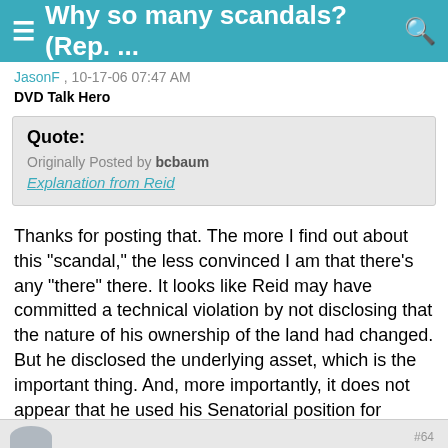≡ Why so many scandals? (Rep.... 🔍
JasonF , 10-17-06 07:47 AM
DVD Talk Hero
Quote:
Originally Posted by bcbaum
Explanation from Reid
Thanks for posting that. The more I find out about this "scandal," the less convinced I am that there's any "there" there. It looks like Reid may have committed a technical violation by not disclosing that the nature of his ownership of the land had changed. But he disclosed the underlying asset, which is the important thing. And, more importantly, it does not appear that he used his Senatorial position for personal profit.